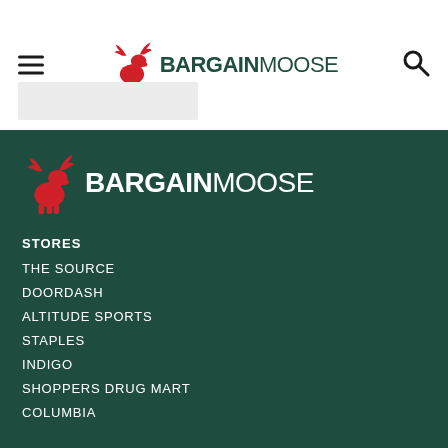[Figure (logo): BargainMoose logo in header with hamburger menu and search icon]
[Figure (logo): BargainMoose logo in dark green footer]
STORES
THE SOURCE
DOORDASH
ALTITUDE SPORTS
STAPLES
INDIGO
SHOPPERS DRUG MART
COLUMBIA